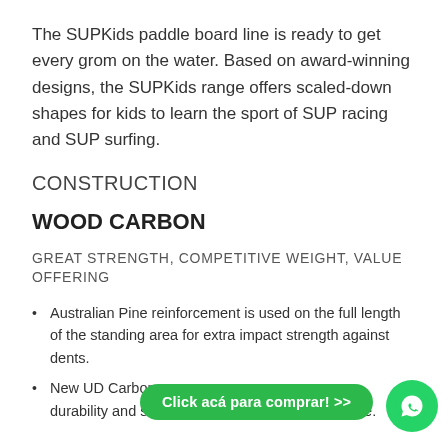The SUPKids paddle board line is ready to get every grom on the water. Based on award-winning designs, the SUPKids range offers scaled-down shapes for kids to learn the sport of SUP racing and SUP surfing.
CONSTRUCTION
WOOD CARBON
GREAT STRENGTH, COMPETITIVE WEIGHT, VALUE OFFERING
Australian Pine reinforcement is used on the full length of the standing area for extra impact strength against dents.
New UD Carbon re… durability and stiffness at the greatest impact zone.